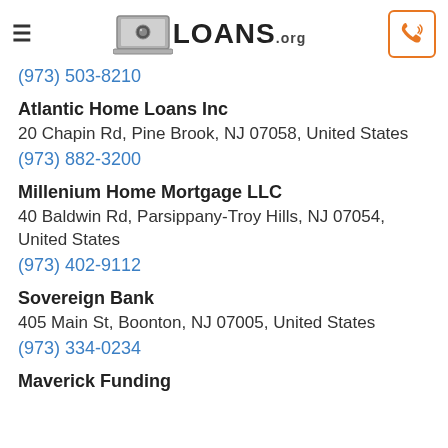LOANS.org
(973) 503-8210
Atlantic Home Loans Inc
20 Chapin Rd, Pine Brook, NJ 07058, United States
(973) 882-3200
Millenium Home Mortgage LLC
40 Baldwin Rd, Parsippany-Troy Hills, NJ 07054, United States
(973) 402-9112
Sovereign Bank
405 Main St, Boonton, NJ 07005, United States
(973) 334-0234
Maverick Funding